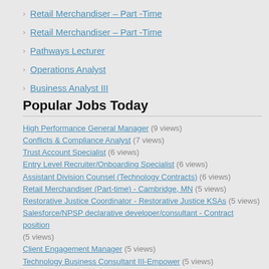Retail Merchandiser – Part -Time
Retail Merchandiser – Part -Time
Pathways Lecturer
Operations Analyst
Business Analyst III
Popular Jobs Today
High Performance General Manager (9 views)
Conflicts & Compliance Analyst (7 views)
Trust Account Specialist (6 views)
Entry Level Recruiter/Onboarding Specialist (6 views)
Assistant Division Counsel (Technology Contracts) (6 views)
Retail Merchandiser (Part-time) - Cambridge, MN (5 views)
Restorative Justice Coordinator - Restorative Justice KSAs (5 views)
Salesforce/NPSP declarative developer/consultant - Contract position (5 views)
Client Engagement Manager (5 views)
Technology Business Consultant III-Empower (5 views)